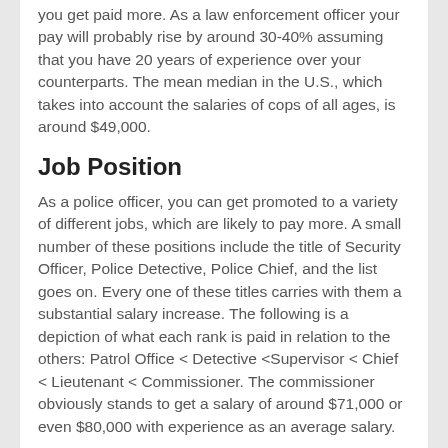you get paid more. As a law enforcement officer your pay will probably rise by around 30-40% assuming that you have 20 years of experience over your counterparts. The mean median in the U.S., which takes into account the salaries of cops of all ages, is around $49,000.
Job Position
As a police officer, you can get promoted to a variety of different jobs, which are likely to pay more. A small number of these positions include the title of Security Officer, Police Detective, Police Chief, and the list goes on. Every one of these titles carries with them a substantial salary increase. The following is a depiction of what each rank is paid in relation to the others: Patrol Office < Detective <Supervisor < Chief < Lieutenant < Commissioner. The commissioner obviously stands to get a salary of around $71,000 or even $80,000 with experience as an average salary.
North Dighton Police Unit
As mentioned before, another factor that decides your wage